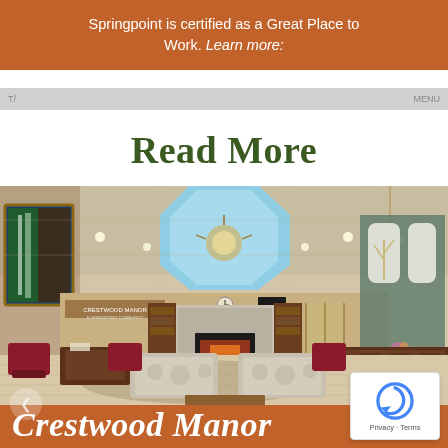Springpoint is certified as a Great Place to Work.  Learn more:
Read More
[Figure (photo): Interior lobby of Crestwood Manor senior living community, showing high ceilings with a large octagonal skylight, chandelier, recessed lighting, comfortable seating with patterned sofas and wine-colored armchairs, a stone fireplace, decorative wall panels with tree motifs, and a reception desk on the right.]
Crestwood Manor